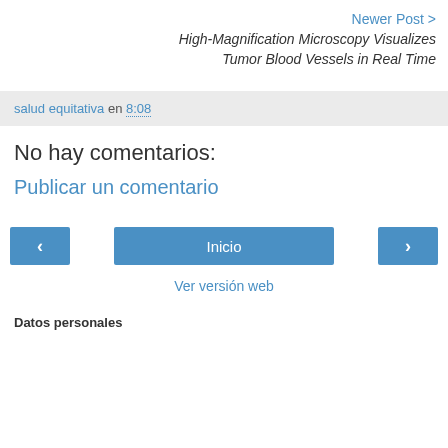Newer Post >
High-Magnification Microscopy Visualizes Tumor Blood Vessels in Real Time
salud equitativa en 8:08
No hay comentarios:
Publicar un comentario
< Inicio >
Ver versión web
Datos personales